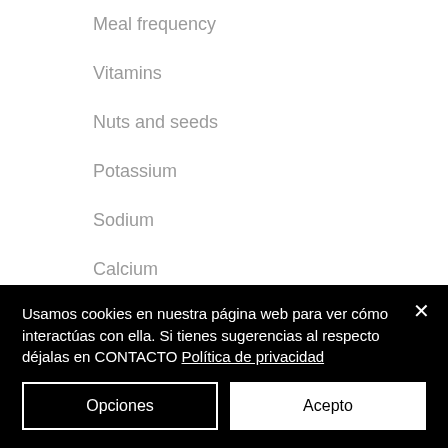Meal frequency
Vitamins
Nuts and seeds
Potassium
Sodium
Calcium
Magnesium
Usamos cookies en nuestra página web para ver cómo interactúas con ella. Si tienes sugerencias al respecto déjalas en CONTACTO Política de privacidad
Opciones
Acepto